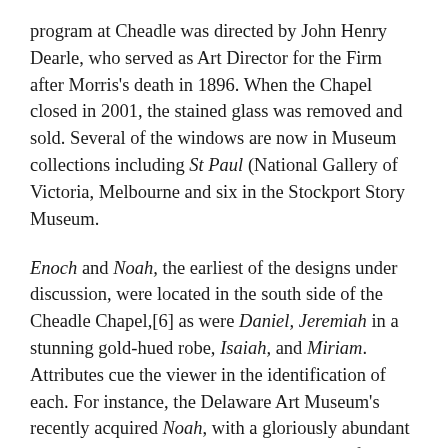program at Cheadle was directed by John Henry Dearle, who served as Art Director for the Firm after Morris's death in 1896. When the Chapel closed in 2001, the stained glass was removed and sold. Several of the windows are now in Museum collections including St Paul (National Gallery of Victoria, Melbourne and six in the Stockport Story Museum.
Enoch and Noah, the earliest of the designs under discussion, were located in the south side of the Cheadle Chapel,[6] as were Daniel, Jeremiah in a stunning gold-hued robe, Isaiah, and Miriam. Attributes cue the viewer in the identification of each. For instance, the Delaware Art Museum's recently acquired Noah, with a gloriously abundant and patriarchal beard, holds the ark in his left hand while the dove bearing the olive branch appears at upper right. Miriam, clothed in a cloak of red, holds a timbrel which she played and sang after the parting of the sea. St John, St Elizabeth, and St